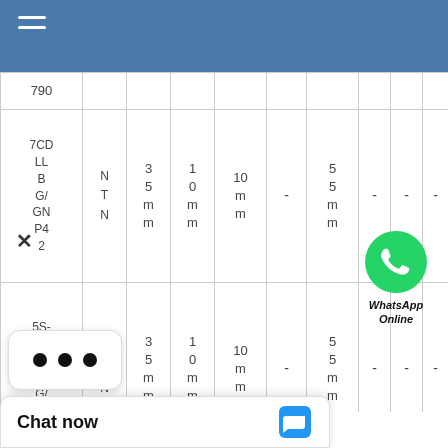[Figure (screenshot): Blue navigation header bar with hamburger menu icon (three horizontal white lines)]
| Part No. | Brand | Bore | OD | Width | Dynamic Load | Static Load | Weight | Basic Static | Other |
| --- | --- | --- | --- | --- | --- | --- | --- | --- | --- |
| 7907CDLlBG/GNP42 | NTN | 35mm | 10mm | 10mm | - | 55mm | - | - | - |
| 5S-7907UAD G/LGN... | NTN | 35mm | 10mm | 10mm | - | 55mm | - | - | - |
[Figure (illustration): WhatsApp Online button — green WhatsApp icon with bold italic text 'WhatsApp Online' below]
[Figure (screenshot): Chat now widget at the bottom of the page with a blue chat icon]
[Figure (screenshot): X close button and three-dot menu widget overlay on the lower left]